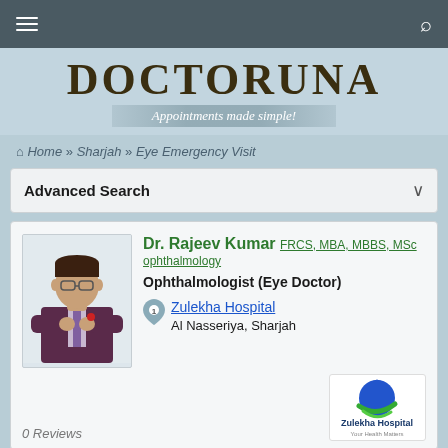DOCTORUNA — Appointments made simple!
Home » Sharjah » Eye Emergency Visit
Advanced Search
Dr. Rajeev Kumar FRCS, MBA, MBBS, MSc ophthalmology — Ophthalmologist (Eye Doctor) — Zulekha Hospital, Al Nasseriya, Sharjah
[Figure (photo): Photo of Dr. Rajeev Kumar, a man in a dark suit with crossed arms]
[Figure (logo): Zulekha Hospital logo — Your Health Matters]
0 Reviews